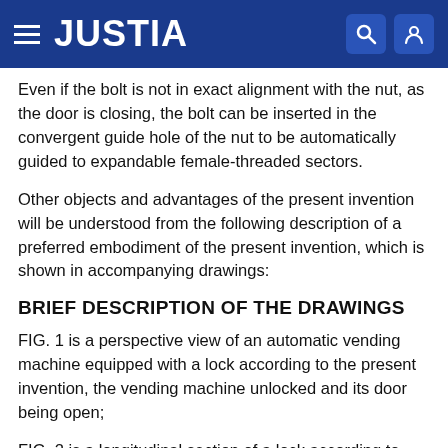JUSTIA
Even if the bolt is not in exact alignment with the nut, as the door is closing, the bolt can be inserted in the convergent guide hole of the nut to be automatically guided to expandable female-threaded sectors.
Other objects and advantages of the present invention will be understood from the following description of a preferred embodiment of the present invention, which is shown in accompanying drawings:
BRIEF DESCRIPTION OF THE DRAWINGS
FIG. 1 is a perspective view of an automatic vending machine equipped with a lock according to the present invention, the vending machine unlocked and its door being open;
FIG. 2 is a longitudinal section of a lock according to one